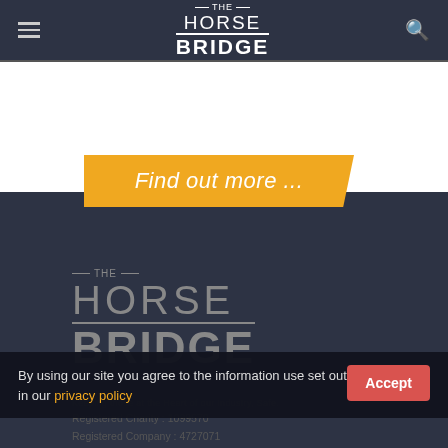[Figure (logo): The Horse Bridge logo in navigation bar — white text on dark navy background with hamburger menu and search icon]
[Figure (illustration): Orange banner button with italic white text reading 'Find out more ...' with parallelogram clip shape]
[Figure (logo): Large The Horse Bridge logo in footer area — grey text on dark navy background]
Keeping those at the Heart of our Industry, Safe.
By using our site you agree to the information use set out in our privacy policy
Registered Charity : 1099570
Registered Company : 4727071